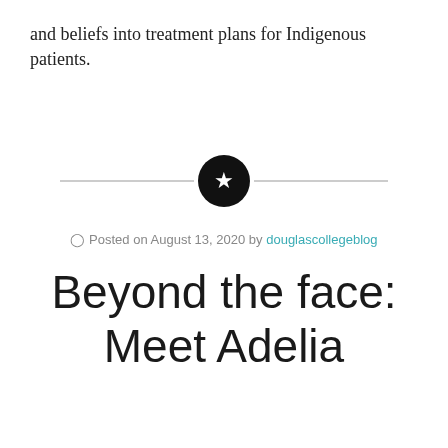and beliefs into treatment plans for Indigenous patients.
[Figure (other): Horizontal divider with a black circle containing a white star in the center]
Posted on August 13, 2020 by douglascollegeblog
Beyond the face: Meet Adelia